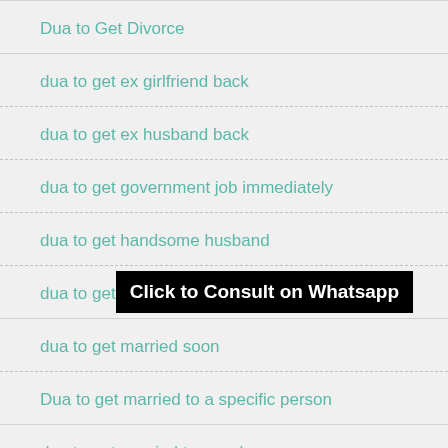Dua to Get Divorce
dua to get ex girlfriend back
dua to get ex husband back
dua to get government job immediately
dua to get handsome husband
dua to get love back
dua to get married soon
Dua to get married to a specific person
dua to get married to your love
dua to get money for marriage